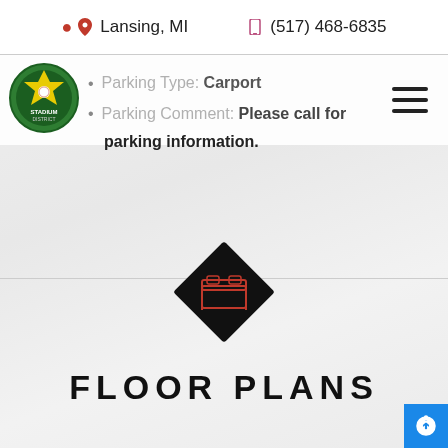Lansing, MI    (517) 468-6835
[Figure (logo): Stadium District circular logo with green background and baseball imagery]
Parking Type: Carport
Parking Comment: Please call for parking information.
[Figure (illustration): Black diamond shape with red bed/bedroom icon inside]
FLOOR PLANS